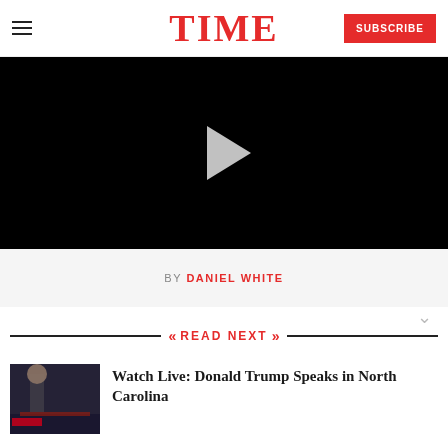TIME
[Figure (screenshot): Black video player with a white play button triangle in the center]
BY DANIEL WHITE
READ NEXT
[Figure (photo): Donald Trump speaking at a podium with American flags in the background]
Watch Live: Donald Trump Speaks in North Carolina